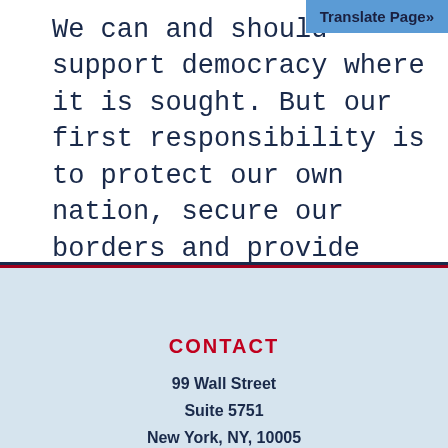We can and should support democracy where it is sought. But our first responsibility is to protect our own nation, secure our borders and provide safety and prosperity for the American people.
[Figure (other): Translate Page button overlay in blue]
CONTACT
99 Wall Street
Suite 5751
New York, NY, 10005